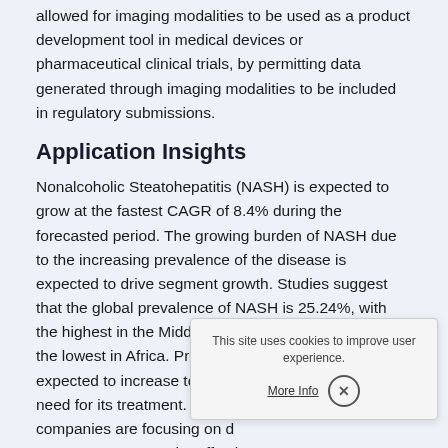allowed for imaging modalities to be used as a product development tool in medical devices or pharmaceutical clinical trials, by permitting data generated through imaging modalities to be included in regulatory submissions.
Application Insights
Nonalcoholic Steatohepatitis (NASH) is expected to grow at the fastest CAGR of 8.4% during the forecasted period. The growing burden of NASH due to the increasing prevalence of the disease is expected to drive segment growth. Studies suggest that the global prevalence of NASH is 25.24%, with the highest in the Middle East and South America and the lowest in Africa. Prevalence for the same is expected to increase to 63.0% by 2030, driving the need for its treatment. Therefore, to meet the demand, companies are focusing on d... to assess the effectiveness o...
Cardiovascular diseases held a significant share in the